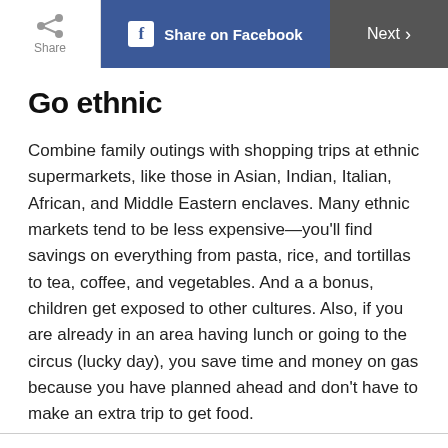Share | Share on Facebook | Next
Go ethnic
Combine family outings with shopping trips at ethnic supermarkets, like those in Asian, Indian, Italian, African, and Middle Eastern enclaves. Many ethnic markets tend to be less expensive—you'll find savings on everything from pasta, rice, and tortillas to tea, coffee, and vegetables. And a a bonus, children get exposed to other cultures. Also, if you are already in an area having lunch or going to the circus (lucky day), you save time and money on gas because you have planned ahead and don't have to make an extra trip to get food.